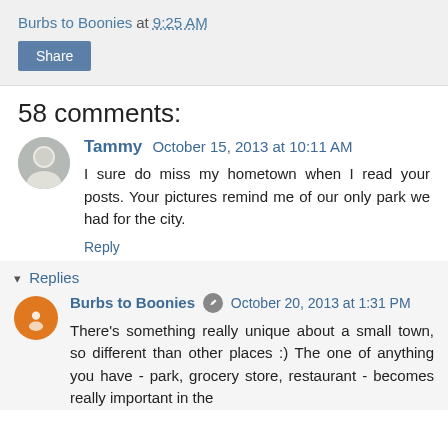Burbs to Boonies at 9:25 AM
Share
58 comments:
Tammy October 15, 2013 at 10:11 AM
I sure do miss my hometown when I read your posts. Your pictures remind me of our only park we had for the city.
Reply
Replies
Burbs to Boonies October 20, 2013 at 1:31 PM
There's something really unique about a small town, so different than other places :) The one of anything you have - park, grocery store, restaurant - becomes really important in the